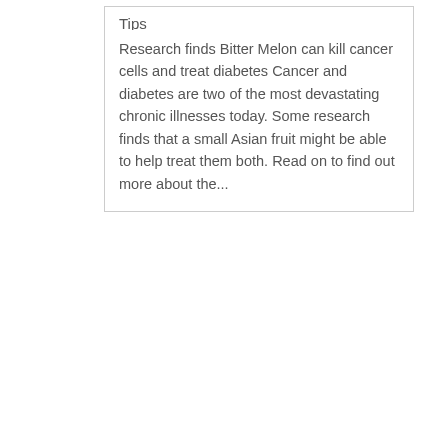Tips
Research finds Bitter Melon can kill cancer cells and treat diabetes Cancer and diabetes are two of the most devastating chronic illnesses today. Some research finds that a small Asian fruit might be able to help treat them both. Read on to find out more about the...
[Figure (photo): A no-smoking illustration showing a red prohibition circle with a diagonal bar crossed over a cigarette, on a white background.]